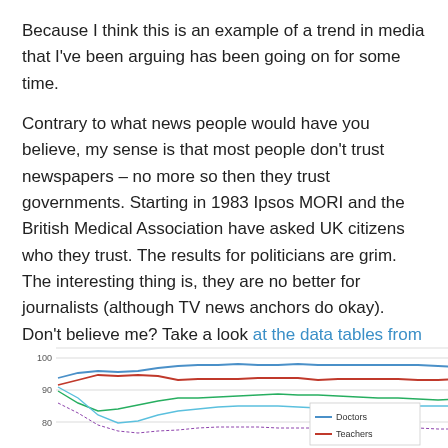Because I think this is an example of a trend in media that I've been arguing has been going on for some time.
Contrary to what news people would have you believe, my sense is that most people don't trust newspapers – no more so then they trust governments. Starting in 1983 Ipsos MORI and the British Medical Association have asked UK citizens who they trust. The results for politicians are grim. The interesting thing is, they are no better for journalists (although TV news anchors do okay). Don't believe me? Take a look at the data tables from Ipsos MORI. Or look at the chart Benne Dezzle over at Viceland created out of the data.
[Figure (line-chart): Partial line chart showing trust levels over time for Doctors, Teachers, and other professions. Y-axis shows values from 80 to 100. Legend visible on right shows Doctors (blue) and Teachers (red).]